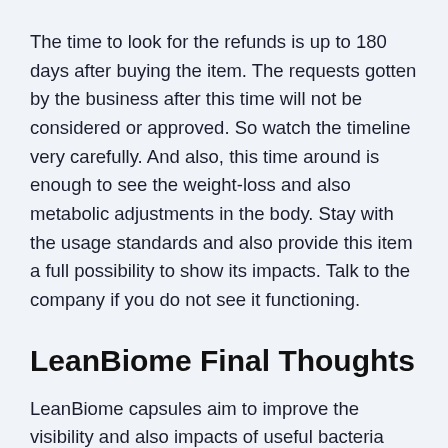The time to look for the refunds is up to 180 days after buying the item. The requests gotten by the business after this time will not be considered or approved. So watch the timeline very carefully. And also, this time around is enough to see the weight-loss and also metabolic adjustments in the body. Stay with the usage standards and also provide this item a full possibility to show its impacts. Talk to the company if you do not see it functioning.
LeanBiome Final Thoughts
LeanBiome capsules aim to improve the visibility and also impacts of useful bacteria inside the body. They can boost food absorption, food